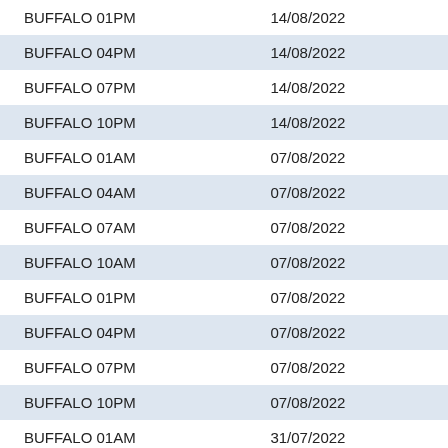| Name | Date |
| --- | --- |
| BUFFALO 01PM | 14/08/2022 |
| BUFFALO 04PM | 14/08/2022 |
| BUFFALO 07PM | 14/08/2022 |
| BUFFALO 10PM | 14/08/2022 |
| BUFFALO 01AM | 07/08/2022 |
| BUFFALO 04AM | 07/08/2022 |
| BUFFALO 07AM | 07/08/2022 |
| BUFFALO 10AM | 07/08/2022 |
| BUFFALO 01PM | 07/08/2022 |
| BUFFALO 04PM | 07/08/2022 |
| BUFFALO 07PM | 07/08/2022 |
| BUFFALO 10PM | 07/08/2022 |
| BUFFALO 01AM | 31/07/2022 |
| BUFFALO 04AM | 31/07/2022 |
| BUFFALO 07AM | 31/07/2022 |
| BUFFALO 10AM | 31/07/2022 |
| BUFFALO 01PM | 31/07/2022 |
| BUFFALO 04PM | 31/07/2022 |